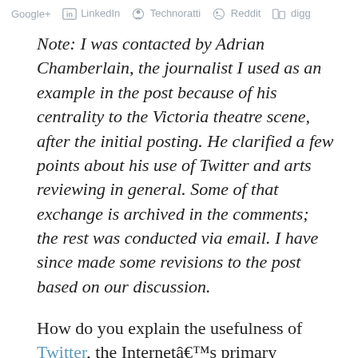Google+  LinkedIn  Technoratti  Reddit  digg
Note: I was contacted by Adrian Chamberlain, the journalist I used as an example in the post because of his centrality to the Victoria theatre scene, after the initial posting. He clarified a few points about his use of Twitter and arts reviewing in general. Some of that exchange is archived in the comments; the rest was conducted via email. I have since made some revisions to the post based on our discussion.
How do you explain the usefulness of Twitter, the Internetâs primary microblogging platform, to someone whoâs never used it?